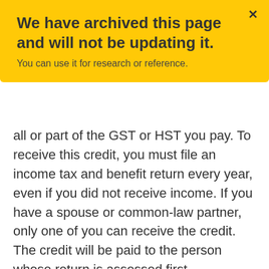We have archived this page and will not be updating it.
You can use it for research or reference.
all or part of the GST or HST you pay. To receive this credit, you must file an income tax and benefit return every year, even if you did not receive income. If you have a spouse or common-law partner, only one of you can receive the credit. The credit will be paid to the person whose return is assessed first.
6. Medical expenses – You may be able to